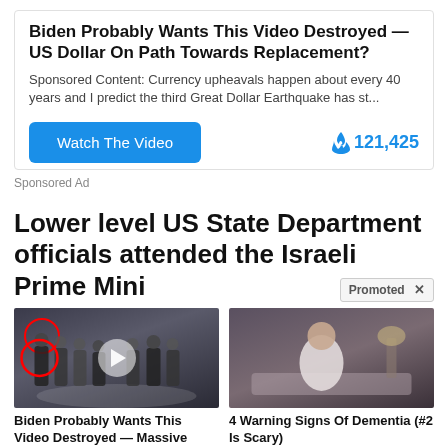Biden Probably Wants This Video Destroyed — US Dollar On Path Towards Replacement?
Sponsored Content: Currency upheavals happen about every 40 years and I predict the third Great Dollar Earthquake has st...
Watch The Video
🔥 121,425
Sponsored Ad
Lower level US State Department officials attended the Israeli Prime Mini
Promoted ×
[Figure (photo): Group of men in suits standing in a formal setting with CIA floor emblem, red circle around one figure, play button overlay]
Biden Probably Wants This Video Destroyed — Massive Currency Upheaval Has Started
🔥 223,110
[Figure (photo): Person in white clothing sitting on a bed in a dimly lit room]
4 Warning Signs Of Dementia (#2 Is Scary)
🔥 49,921